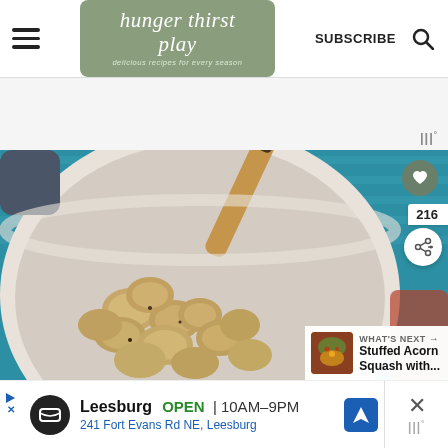hunger thirst play — delicious recipes for every season | SUBSCRIBE
[Figure (photo): Overhead view of a white Dutch oven/cast iron pot with cooked chicken pieces and a wooden spoon, set against a teal/blue background. Heart icon overlay, share count 216, share button, and 'WHAT'S NEXT → Stuffed Acorn Squash with...' panel visible.]
WHAT'S NEXT → Stuffed Acorn Squash with...
Leesburg  OPEN | 10AM–9PM
241 Fort Evans Rd NE, Leesburg